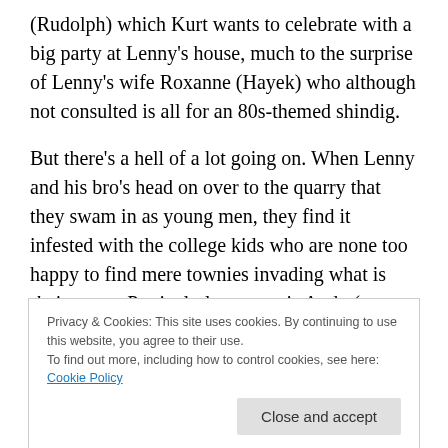(Rudolph) which Kurt wants to celebrate with a big party at Lenny's house, much to the surprise of Lenny's wife Roxanne (Hayek) who although not consulted is all for an 80s-themed shindig.
But there's a hell of a lot going on. When Lenny and his bro's head on over to the quarry that they swam in as young men, they find it infested with the college kids who are none too happy to find mere townies invading what is their space. Particularly put out is Andy (an uncredited Lautner), leader of a bunch of preppy frat rats who bump
Privacy & Cookies: This site uses cookies. By continuing to use this website, you agree to their use.
To find out more, including how to control cookies, see here: Cookie Policy
crash Lenny's party and put a beat-down on him and his